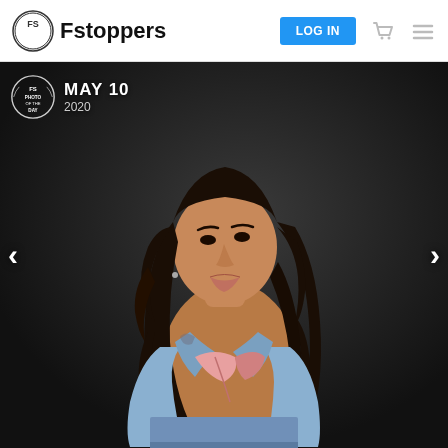Fstoppers — LOG IN navigation bar with cart and menu icons
[Figure (photo): Fstoppers Photo of the Day May 10 2020 — studio portrait of a young woman with long curly dark hair, wearing a bikini top and open denim jacket with jeans, posed against a dark background. Navigation arrows on left and right sides.]